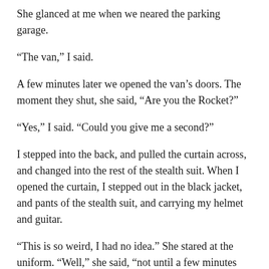She glanced at me when we neared the parking garage.
“The van,” I said.
A few minutes later we opened the van’s doors. The moment they shut, she said, “Are you the Rocket?”
“Yes,” I said. “Could you give me a second?”
I stepped into the back, and pulled the curtain across, and changed into the rest of the stealth suit. When I opened the curtain, I stepped out in the black jacket, and pants of the stealth suit, and carrying my helmet and guitar.
“This is so weird, I had no idea.” She stared at the uniform. “Well,” she said, “not until a few minutes ago.”
I stepped out and closed the door.